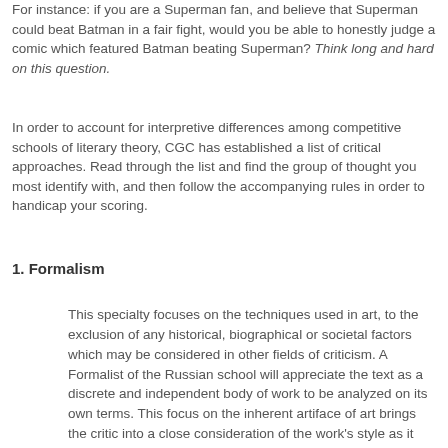For instance: if you are a Superman fan, and believe that Superman could beat Batman in a fair fight, would you be able to honestly judge a comic which featured Batman beating Superman? Think long and hard on this question.
In order to account for interpretive differences among competitive schools of literary theory, CGC has established a list of critical approaches. Read through the list and find the group of thought you most identify with, and then follow the accompanying rules in order to handicap your scoring.
1. Formalism
This specialty focuses on the techniques used in art, to the exclusion of any historical, biographical or societal factors which may be considered in other fields of criticism. A Formalist of the Russian school will appreciate the text as a discrete and independent body of work to be analyzed on its own terms. This focus on the inherent artiface of art brings the critic into a close consideration of the work's style as it